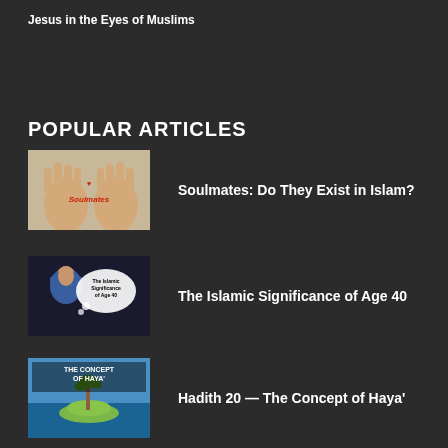Jesus in the Eyes of Muslims
POPULAR ARTICLES
[Figure (photo): Two hands with 'Soulmates' written on palms]
Soulmates: Do They Exist in Islam?
[Figure (photo): Woman in hijab with thought bubble reading 'The Islamic Significance of Age 40']
The Islamic Significance of Age 40
[Figure (photo): Book/article cover: 'The Concept of Haya' with island image]
Hadith 20 — The Concept of Haya'